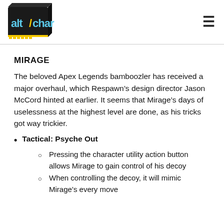altchar logo and navigation
MIRAGE
The beloved Apex Legends bamboozler has received a major overhaul, which Respawn’s design director Jason McCord hinted at earlier. It seems that Mirage’s days of uselessness at the highest level are done, as his tricks got way trickier.
Tactical: Psyche Out
Pressing the character utility action button allows Mirage to gain control of his decoy
When controlling the decoy, it will mimic Mirage’s every move